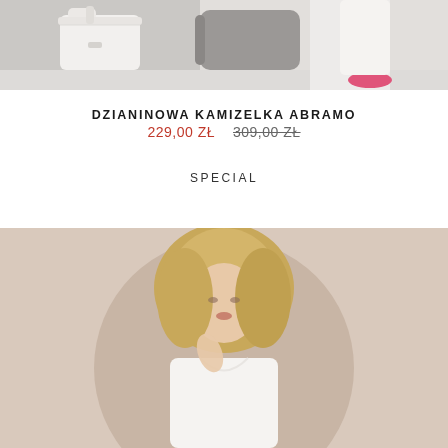[Figure (photo): Fashion product photo: white structured handbag on left, model wearing white trousers and pink mule shoes on right, light grey background]
DZIANINOWA KAMIZELKA ABRAMO
229,00 ZŁ  309,00 ZŁ
SPECIAL
[Figure (photo): Fashion model with blonde hair wearing a white knit top, beige/nude background with circular arch element]